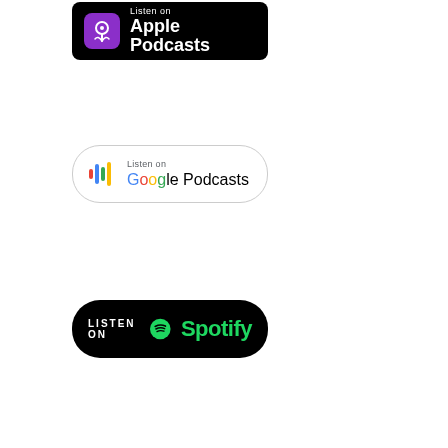[Figure (logo): Apple Podcasts badge — black rounded rectangle with purple podcast icon and white text 'Listen on Apple Podcasts']
[Figure (logo): Google Podcasts badge — white rounded rectangle with Google Podcasts equalizer icon and text 'Listen on Google Podcasts']
[Figure (logo): Spotify badge — black rounded pill with green Spotify logo and text 'LISTEN ON Spotify']